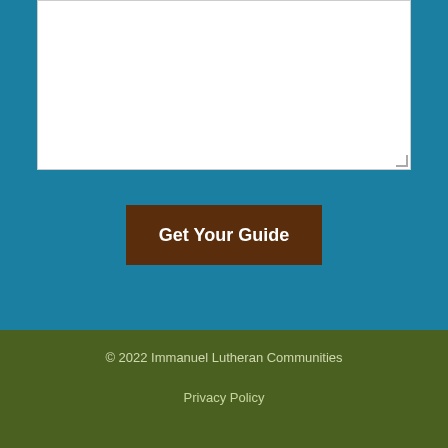[Figure (screenshot): White textarea input box with resize handle at bottom-right corner, on teal background]
Get Your Guide
© 2022 Immanuel Lutheran Communities
Privacy Policy